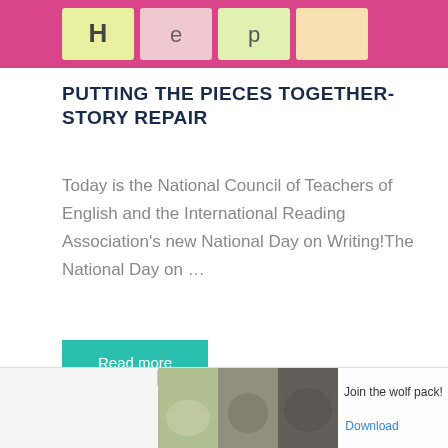[Figure (photo): Cropped photo of colorful flash cards or letter tiles on a bright pink/magenta background, partially visible at the top of the page]
PUTTING THE PIECES TOGETHER-STORY REPAIR
Today is the National Council of Teachers of English and the International Reading Association's new National Day on Writing! The National Day on …
Read more
[Figure (photo): Advertisement banner showing wolf images with text 'Join the wolf pack!' and a 'Download' link, labeled 'Ad']